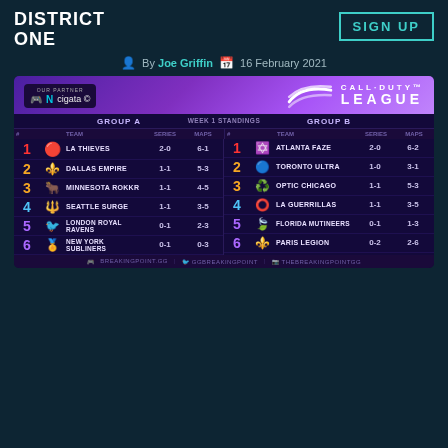DISTRICT ONE | SIGN UP
By Joe Griffin  16 February 2021
[Figure (infographic): Call of Duty League Week 1 Standings graphic showing Group A and Group B standings. Group A: 1. LA Thieves 2-0 6-1, 2. Dallas Empire 1-1 5-3, 3. Minnesota ROKKR 1-1 4-5, 4. Seattle Surge 1-1 3-5, 5. London Royal Ravens 0-1 2-3, 6. New York Subliners 0-1 0-3. Group B: 1. Atlanta FaZe 2-0 6-2, 2. Toronto Ultra 1-0 3-1, 3. Optic Chicago 1-1 5-3, 4. LA Guerrillas 1-1 3-5, 5. Florida Mutineers 0-1 1-3, 6. Paris Legion 0-2 2-6.]